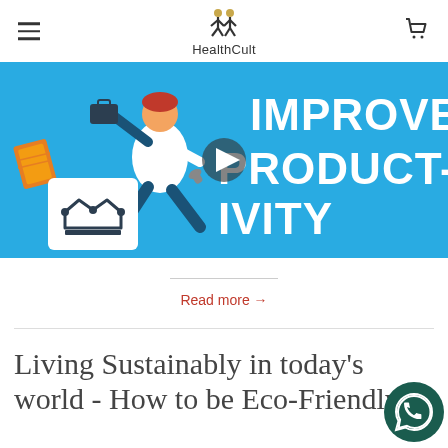HealthCult
[Figure (illustration): Animated illustration of a running person carrying objects, with text 'IMPROVE PRODUCTIVITY' on a blue background, and a play button icon. A white box with a crown icon is on the left.]
Read more →
Living Sustainably in today's world - How to be Eco-Friendly